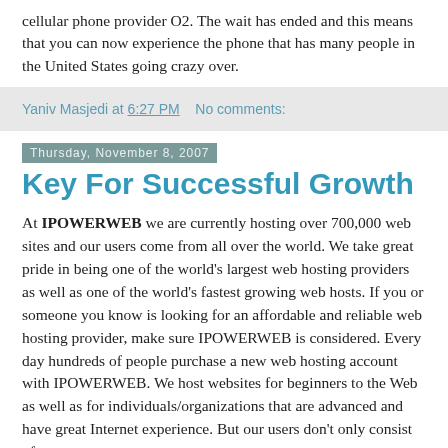cellular phone provider O2. The wait has ended and this means that you can now experience the phone that has many people in the United States going crazy over.
Yaniv Masjedi at 6:27 PM   No comments:
Thursday, November 8, 2007
Key For Successful Growth
At IPOWERWEB we are currently hosting over 700,000 web sites and our users come from all over the world. We take great pride in being one of the world's largest web hosting providers as well as one of the world's fastest growing web hosts. If you or someone you know is looking for an affordable and reliable web hosting provider, make sure IPOWERWEB is considered. Every day hundreds of people purchase a new web hosting account with IPOWERWEB. We host websites for beginners to the Web as well as for individuals/organizations that are advanced and have great Internet experience. But our users don't only consist of new